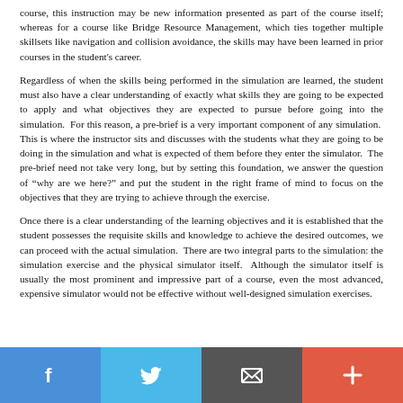course, this instruction may be new information presented as part of the course itself; whereas for a course like Bridge Resource Management, which ties together multiple skillsets like navigation and collision avoidance, the skills may have been learned in prior courses in the student's career.
Regardless of when the skills being performed in the simulation are learned, the student must also have a clear understanding of exactly what skills they are going to be expected to apply and what objectives they are expected to pursue before going into the simulation.  For this reason, a pre-brief is a very important component of any simulation.  This is where the instructor sits and discusses with the students what they are going to be doing in the simulation and what is expected of them before they enter the simulator.  The pre-brief need not take very long, but by setting this foundation, we answer the question of “why are we here?” and put the student in the right frame of mind to focus on the objectives that they are trying to achieve through the exercise.
Once there is a clear understanding of the learning objectives and it is established that the student possesses the requisite skills and knowledge to achieve the desired outcomes, we can proceed with the actual simulation.  There are two integral parts to the simulation: the simulation exercise and the physical simulator itself.  Although the simulator itself is usually the most prominent and impressive part of a course, even the most advanced, expensive simulator would not be effective without well-designed simulation exercises.  For this reason...
[Figure (infographic): Social sharing bar with four buttons: Facebook (blue), Twitter (light blue), Email/share (dark grey), and Add/plus (red-orange)]